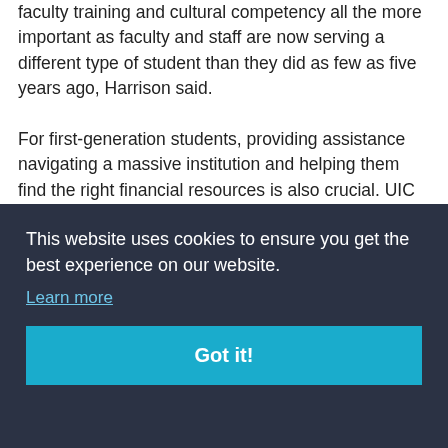faculty training and cultural competency all the more important as faculty and staff are now serving a different type of student than they did as few as five years ago, Harrison said.
For first-generation students, providing assistance navigating a massive institution and helping them find the right financial resources is also crucial. UIC serves 28,000,
[Figure (screenshot): Cookie consent banner overlay with dark navy background. Text reads: 'This website uses cookies to ensure you get the best experience on our website.' with a 'Learn more' link and a teal 'Got it!' button.]
prominent majors include engineering and the